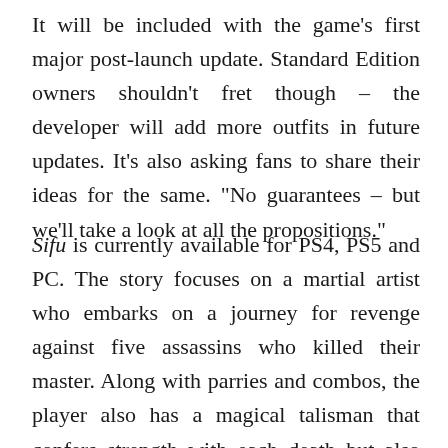It will be included with the game’s first major post-launch update. Standard Edition owners shouldn’t fret though – the developer will add more outfits in future updates. It’s also asking fans to share their ideas for the same. “No guarantees – but we’ll take a look at all the propositions.”
Sifu is currently available for PS4, PS5 and PC. The story focuses on a martial artist who embarks on a journey for revenge against five assassins who killed their master. Along with parries and combos, the player also has a magical talisman that confers strength with each death but also ages them. For more details, check out our official review here.